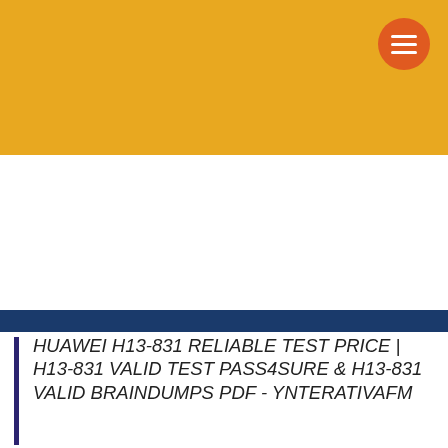[Figure (screenshot): Golden yellow website header bar with orange circular hamburger menu button in top right corner]
[Figure (screenshot): Dark blue navigation bar with two gold rounded buttons: ASSISTA (with TV icon) and OUÇA (with microphone icon)]
HUAWEI H13-831 RELIABLE TEST PRICE | H13-831 VALID TEST PASS4SURE & H13-831 VALID BRAINDUMPS PDF - YNTERATIVAFM